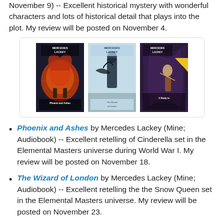November 9) -- Excellent historical mystery with wonderful characters and lots of historical detail that plays into the plot. My review will be posted on November 4.
[Figure (photo): Three Mercedes Lackey book covers: Phoenix and Ashes, The Wizard of London, and A Study in Sable, displayed side by side in a bordered box.]
Phoenix and Ashes by Mercedes Lackey (Mine; Audiobook) -- Excellent retelling of Cinderella set in the Elemental Masters universe during World War I. My review will be posted on November 18.
The Wizard of London by Mercedes Lackey (Mine; Audiobook) -- Excellent retelling the the Snow Queen set in the Elemental Masters universe. My review will be posted on November 23.
A Study in Sable by Mercedes Lackey (Mine;